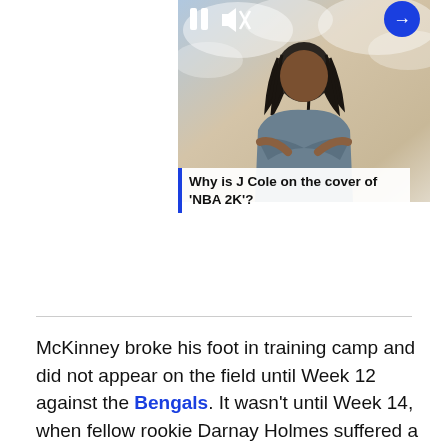[Figure (photo): A person (J Cole) sitting with arms crossed against a stylized cloudy sky background, with pause and mute icons on the left and a blue arrow button on the right]
Why is J Cole on the cover of 'NBA 2K'?
McKinney broke his foot in training camp and did not appear on the field until Week 12 against the Bengals. It wasn't until Week 14, when fellow rookie Darnay Holmes suffered a knee injury, that McKinney saw significant snaps as he helped man the slot. He was targeted six times by Kyler Murray in that game, surrendering four catches for 14 yards.
In his short time seeing the field, Patrick Graham used McKinney in a variety of ways; he played 21 snaps on